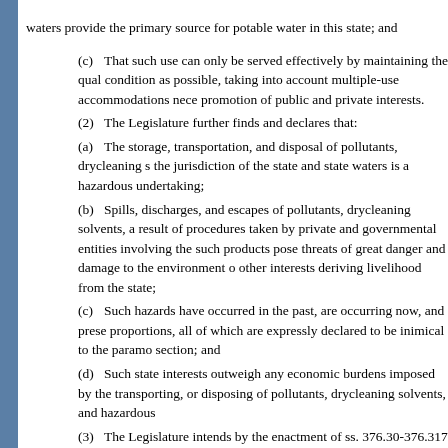waters provide the primary source for potable water in this state; and
(c) That such use can only be served effectively by maintaining the quality condition as possible, taking into account multiple-use accommodations necessary for the promotion of public and private interests.
(2) The Legislature further finds and declares that:
(a) The storage, transportation, and disposal of pollutants, drycleaning solvents, within the jurisdiction of the state and state waters is a hazardous undertaking;
(b) Spills, discharges, and escapes of pollutants, drycleaning solvents, and other products as a result of procedures taken by private and governmental entities involving the storage of such products pose threats of great danger and damage to the environment of citizens and other interests deriving livelihood from the state;
(c) Such hazards have occurred in the past, are occurring now, and present statewide proportions, all of which are expressly declared to be inimical to the paramount purposes of this section; and
(d) Such state interests outweigh any economic burdens imposed by the storing, transporting, or disposing of pollutants, drycleaning solvents, and hazardous substances.
(3) The Legislature intends by the enactment of ss. 376.30-376.317 to exercise, by conferring upon the Department of Environmental Protection the power to:
(a) Deal with the environmental and health hazards and threats of danger arising from transportation, disposal, and related activities;
(b) Require the prompt containment and removal of products occasioned by
(c) Establish a program which will enable the department to: